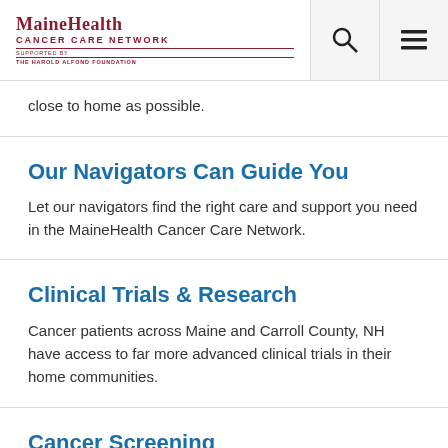MaineHealth Cancer Care Network – Supported by The Harold Alfond Foundation
close to home as possible.
Our Navigators Can Guide You
Let our navigators find the right care and support you need in the MaineHealth Cancer Care Network.
Clinical Trials & Research
Cancer patients across Maine and Carroll County, NH have access to far more advanced clinical trials in their home communities.
Cancer Screening